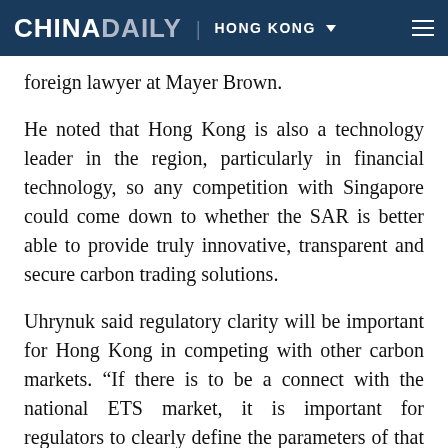CHINA DAILY | HONG KONG
foreign lawyer at Mayer Brown.
He noted that Hong Kong is also a technology leader in the region, particularly in financial technology, so any competition with Singapore could come down to whether the SAR is better able to provide truly innovative, transparent and secure carbon trading solutions.
Uhrynuk said regulatory clarity will be important for Hong Kong in competing with other carbon markets. “If there is to be a connect with the national ETS market, it is important for regulators to clearly define the parameters of that relationship.”
Woo said he believes Singapore’s carbon trading may be attractive for Southeast Asian companies, but Hong